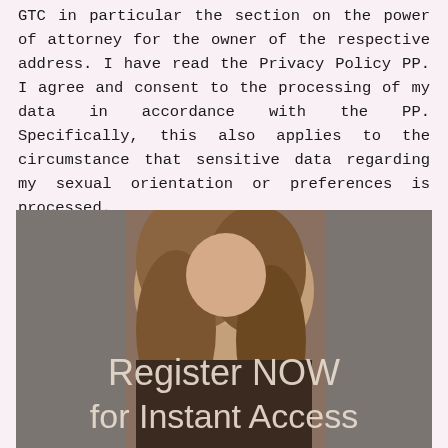GTC in particular the section on the power of attorney for the owner of the respective address. I have read the Privacy Policy PP. I agree and consent to the processing of my data in accordance with the PP. Specifically, this also applies to the circumstance that sensitive data regarding my sexual orientation or preferences is processed.
[Figure (photo): Photo of a woman with text overlay reading 'Register NOW for Instant Access']